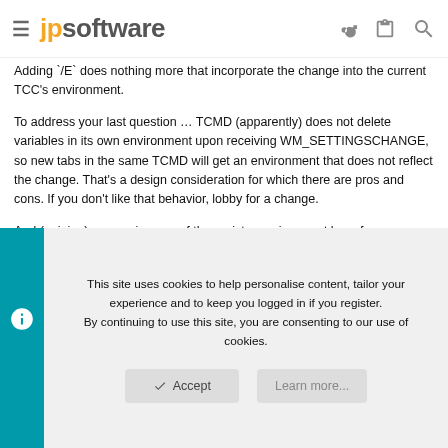jpsoftware
Adding /E does nothing more that incorporate the change into the current TCC's environment.
To address your last question … TCMD (apparently) does not delete variables in its own environment upon receiving WM_SETTINGSCHANGE, so new tabs in the same TCMD will get an environment that does not reflect the change. That's a design consideration for which there are pros and cons. If you don't like that behavior, lobby for a change.
And (opinion) apps using any of the registry environment keys for proprietary purposes is … um … iffy.
This site uses cookies to help personalise content, tailor your experience and to keep you logged in if you register.
By continuing to use this site, you are consenting to our use of cookies.